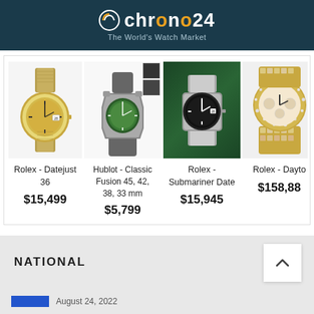chrono24 — The World's Watch Market
[Figure (screenshot): Product listing grid showing four luxury watches with names and prices: Rolex Datejust 36 $15,499; Hublot Classic Fusion 45, 42, 38, 33 mm $5,799; Rolex Submariner Date $15,945; Rolex Daytona (partially visible) $158,88x]
NATIONAL
August 24, 2022